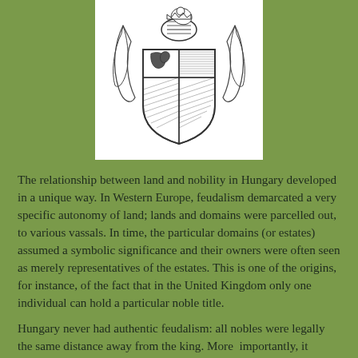[Figure (illustration): A heraldic coat of arms with a shield, lion, and decorative elements, rendered in black and white engraving style, displayed on a white background.]
The relationship between land and nobility in Hungary developed in a unique way. In Western Europe, feudalism demarcated a very specific autonomy of land; lands and domains were parcelled out, to various vassals. In time, the particular domains (or estates) assumed a symbolic significance and their owners were often seen as merely representatives of the estates. This is one of the origins, for instance, of the fact that in the United Kingdom only one individual can hold a particular noble title.
Hungary never had authentic feudalism: all nobles were legally the same distance away from the king. More  importantly, it seems that the ancient nomadic ways of the Magyar nobles made land